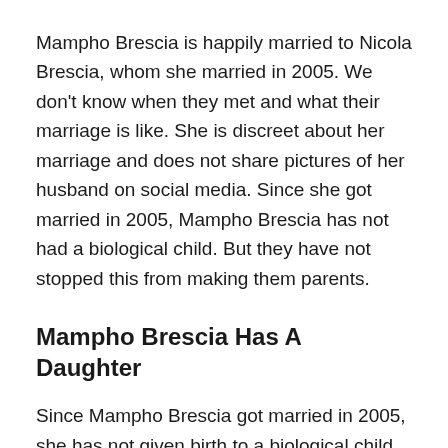Mampho Brescia is happily married to Nicola Brescia, whom she married in 2005. We don't know when they met and what their marriage is like. She is discreet about her marriage and does not share pictures of her husband on social media. Since she got married in 2005, Mampho Brescia has not had a biological child. But they have not stopped this from making them parents.
Mampho Brescia Has A Daughter
Since Mampho Brescia got married in 2005, she has not given birth to a biological child. However, she has a daughter called Rainn Brescia. Rainn is Mampho Brescia's adopted daughter, and they share such an